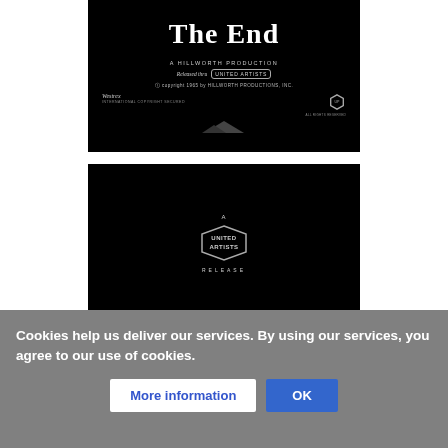[Figure (photo): Black and white film frame showing 'The End' title card for a Hillworth Production, released through United Artists. Text reads: 'The End', 'A HILLWORTH PRODUCTION', 'Released thru UNITED ARTISTS', 'copyright 1965 by HILLWORTH PRODUCTIONS, INC.', 'Westrex', 'INTERNATIONAL COPYRIGHT SECURED', 'ALL RIGHTS RESERVED']
[Figure (photo): Black and white film frame showing a United Artists release card with the United Artists hexagonal logo/emblem and the text 'A UNITED ARTISTS RELEASE']
Cookies help us deliver our services. By using our services, you agree to our use of cookies.
More information
OK